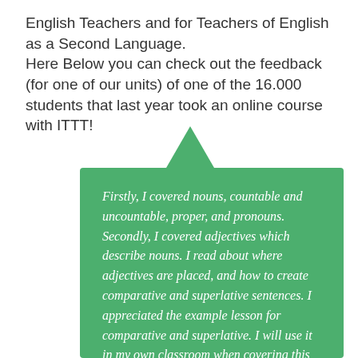English Teachers and for Teachers of English as a Second Language.
Here Below you can check out the feedback (for one of our units) of one of the 16.000 students that last year took an online course with ITTT!
Firstly, I covered nouns, countable and uncountable, proper, and pronouns. Secondly, I covered adjectives which describe nouns. I read about where adjectives are placed, and how to create comparative and superlative sentences. I appreciated the example lesson for comparative and superlative. I will use it in my own classroom when covering this topic. Thirdly, I covered verbs, transitive and intransitive. It didn't occur to me that